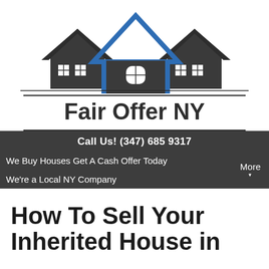[Figure (logo): Fair Offer NY logo with three house silhouettes (left and right in dark gray, center in blue) above the text Fair Offer NY]
Call Us! (347) 685 9317
We Buy Houses Get A Cash Offer Today
We're a Local NY Company
More
How To Sell Your Inherited House in